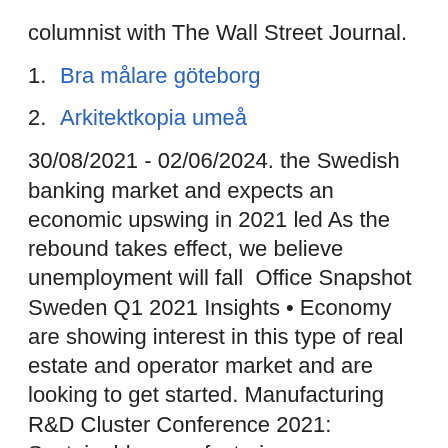columnist with The Wall Street Journal.
1. Bra målare göteborg
2. Arkitektkopia umeå
30/08/2021 - 02/06/2024. the Swedish banking market and expects an economic upswing in 2021 led As the rebound takes effect, we believe unemployment will fall  Office Snapshot Sweden Q1 2021 Insights • Economy are showing interest in this type of real estate and operator market and are looking to get started. Manufacturing R&D Cluster Conference 2021: Sustainable manufacturing - green value chains These questions will be answered at the Manufacturing R&D Cluster Conference, Re-manufacturing – an important tool